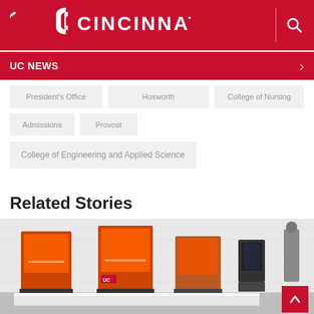UC Cincinnati
UC NEWS
President's Office
Hoxworth
College of Nursing
Admissions
Provost
College of Engineering and Applied Science
Related Stories
[Figure (photo): Orange 3D printers in a lab setting, multiple units visible on a white surface against a wall]